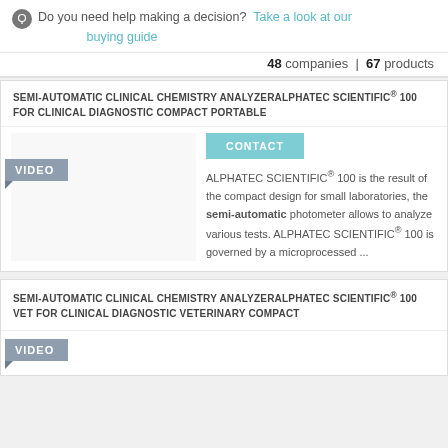Do you need help making a decision? Take a look at our buying guide
48 companies | 67 products
SEMI-AUTOMATIC CLINICAL CHEMISTRY ANALYZERALPHATEC SCIENTIFIC® 100 FOR CLINICAL DIAGNOSTIC COMPACT PORTABLE
[Figure (screenshot): VIDEO badge label in grey]
CONTACT
ALPHATEC SCIENTIFIC® 100 is the result of the compact design for small laboratories, the semi-automatic photometer allows to analyze various tests. ALPHATEC SCIENTIFIC® 100 is governed by a microprocessed ...
SEMI-AUTOMATIC CLINICAL CHEMISTRY ANALYZERALPHATEC SCIENTIFIC® 100 VET FOR CLINICAL DIAGNOSTIC VETERINARY COMPACT